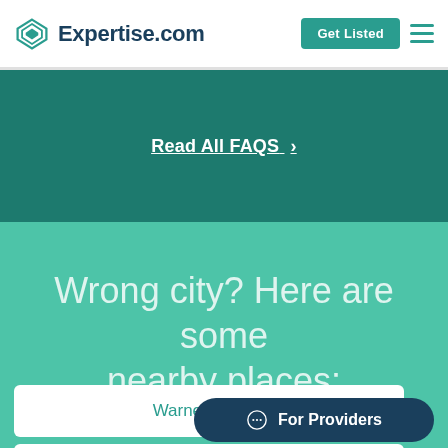Expertise.com | Get Listed
Read All FAQS →
Wrong city? Here are some nearby places:
Warner Robins
For Providers